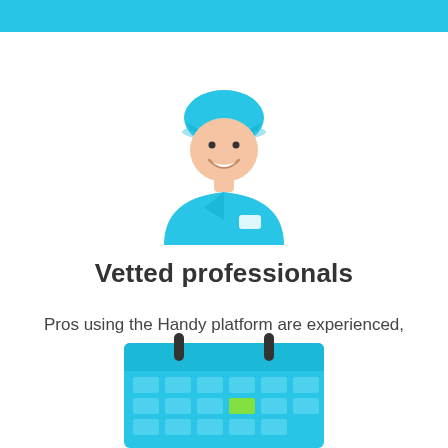[Figure (illustration): Flat illustration of a smiling professional worker wearing a teal/cyan cap and uniform]
Vetted professionals
Pros using the Handy platform are experienced, friendly, and screened.
[Figure (illustration): Flat illustration of a calendar/scheduler with teal grid cells and a green highlighted cell]